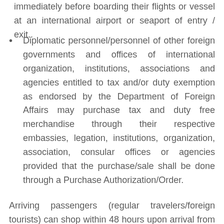immediately before boarding their flights or vessel at an international airport or seaport of entry / exit..
Diplomatic personnel/personnel of other foreign governments and offices of international organization, institutions, associations and agencies entitled to tax and/or duty exemption as endorsed by the Department of Foreign Affairs may purchase tax and duty free merchandise through their respective embassies, legation, institutions, organization, association, consular offices or agencies provided that the purchase/sale shall be done through a Purchase Authorization/Order.
Arriving passengers (regular travelers/foreign tourists) can shop within 48 hours upon arrival from a foreign